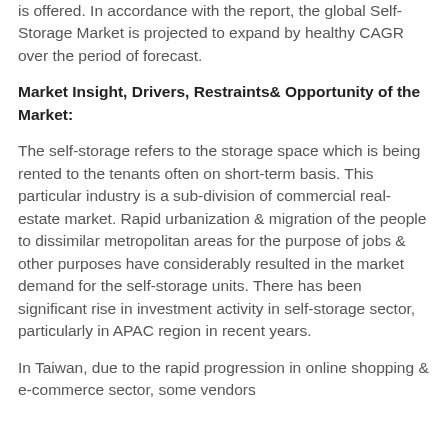is offered. In accordance with the report, the global Self-Storage Market is projected to expand by healthy CAGR over the period of forecast.
Market Insight, Drivers, Restraints& Opportunity of the Market:
The self-storage refers to the storage space which is being rented to the tenants often on short-term basis. This particular industry is a sub-division of commercial real-estate market. Rapid urbanization & migration of the people to dissimilar metropolitan areas for the purpose of jobs & other purposes have considerably resulted in the market demand for the self-storage units. There has been significant rise in investment activity in self-storage sector, particularly in APAC region in recent years.
In Taiwan, due to the rapid progression in online shopping & e-commerce sector, some vendors